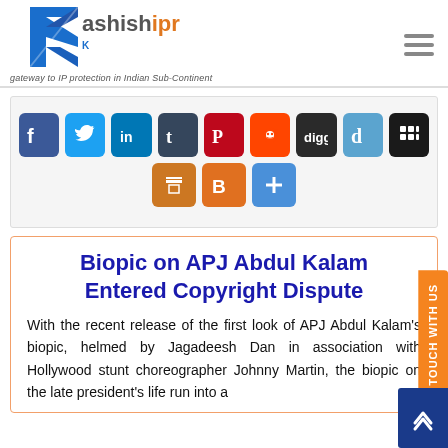[Figure (logo): Kashishipr logo — stylized K with blue angular graphic and orange/blue text 'kashishipr', tagline 'gateway to IP protection in Indian Sub-Continent']
[Figure (infographic): Social media sharing icons row: Facebook, Twitter, LinkedIn, Tumblr, Pinterest, Reddit, Digg, Delicious, Myspace, then second row: Print, Blogger, AddThis plus]
Biopic on APJ Abdul Kalam Entered Copyright Dispute
With the recent release of the first look of APJ Abdul Kalam's biopic, helmed by Jagadeesh Dan in association with Hollywood stunt choreographer Johnny Martin, the biopic on the late president's life run into a